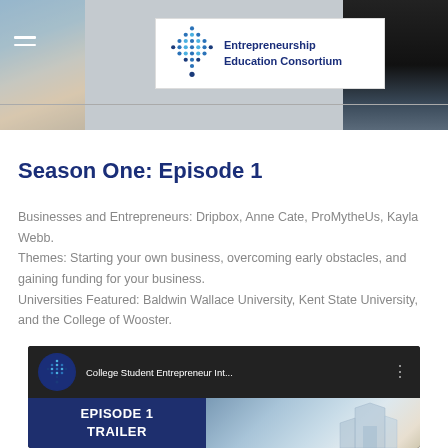[Figure (photo): Banner photo showing two people on either side with Entrepreneurship Education Consortium logo in the center on a white card, and a hamburger menu icon on the left.]
Season One: Episode 1
Businesses and Entrepreneurs: Dripbox, Anne Cate, ProMytheUs, Kayla Webb.
Themes: Starting your own business, overcoming early obstacles, and gaining funding for your business.
Universities Featured: Baldwin Wallace University, Kent State University, and the College of Wooster.
[Figure (screenshot): YouTube video thumbnail showing the Entrepreneurship Education Consortium channel icon, title 'College Student Entrepreneur Int...' with a three-dot menu icon, and a dark blue panel with 'EPISODE 1 TRAILER' text next to a building image.]